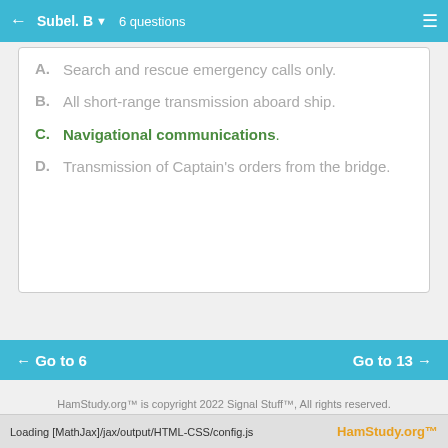← Subel. B ▼  6 questions  ≡
A. Search and rescue emergency calls only.
B. All short-range transmission aboard ship.
C. Navigational communications.
D. Transmission of Captain's orders from the bridge.
← Go to 6    Go to 13 →
HamStudy.org™ is copyright 2022 Signal Stuff™, All rights reserved.
Loading [MathJax]/jax/output/HTML-CSS/config.js    HamStudy.org™